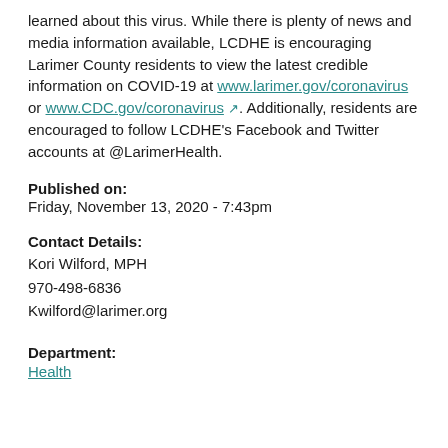learned about this virus. While there is plenty of news and media information available, LCDHE is encouraging Larimer County residents to view the latest credible information on COVID-19 at www.larimer.gov/coronavirus or www.CDC.gov/coronavirus. Additionally, residents are encouraged to follow LCDHE's Facebook and Twitter accounts at @LarimerHealth.
Published on: Friday, November 13, 2020 - 7:43pm
Contact Details: Kori Wilford, MPH 970-498-6836 Kwilford@larimer.org
Department: Health